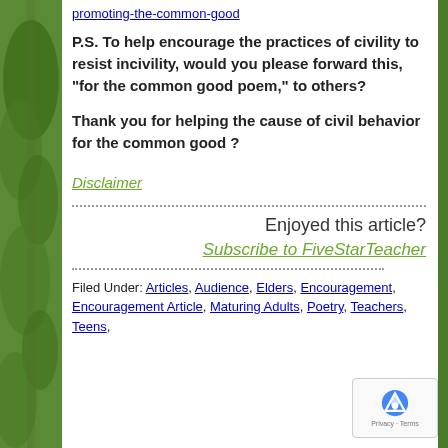promoting-the-common-good
P.S. To help encourage the practices of civility to resist incivility, would you please forward this, “for the common good poem,” to others?
Thank you for helping the cause of civil behavior for the common good ?
Disclaimer
Enjoyed this article?
Subscribe to FiveStarTeacher
Filed Under: Articles, Audience, Elders, Encouragement, Encouragement Article, Maturing Adults, Poetry, Teachers, Teens,